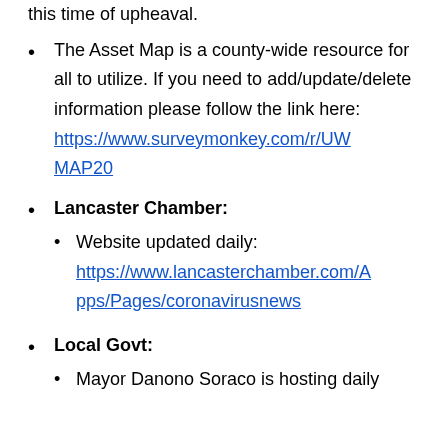The Asset Map is a county-wide resource for all to utilize. If you need to add/update/delete information please follow the link here: https://www.surveymonkey.com/r/UWMAP20
Lancaster Chamber:
Website updated daily: https://www.lancasterchamber.com/Apps/Pages/coronavirusnews
Local Govt:
Mayor Danono Soraco is hosting daily